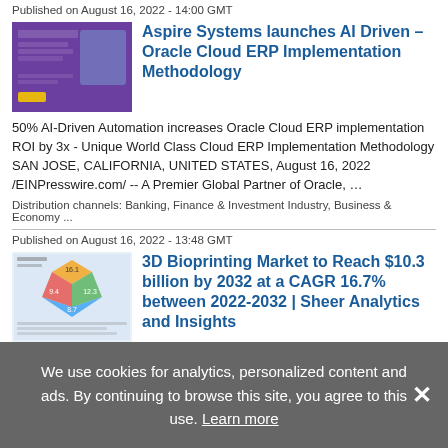Published on August 16, 2022 - 14:00 GMT
[Figure (screenshot): Aspire Systems product screenshot thumbnail with purple background]
Aspire Systems launches AI Driven – Oracle Cloud ERP Implementation Methodology
50% AI-Driven Automation increases Oracle Cloud ERP implementation ROI by 3x - Unique World Class Cloud ERP Implementation Methodology SAN JOSE, CALIFORNIA, UNITED STATES, August 16, 2022 /EINPresswire.com/ -- A Premier Global Partner of Oracle, …
Distribution channels: Banking, Finance & Investment Industry, Business & Economy ...
Published on August 16, 2022 - 13:48 GMT
[Figure (screenshot): 3D Bioprinting market chart thumbnail with diamond diagram]
3D Bioprinting Market to Reach $10.3 billion by 2032 at a CAGR 16.7% between 2022-2032 | Sheer Analytics and Insights
The global 3D bio printing market was valued at
We use cookies for analytics, personalized content and ads. By continuing to browse this site, you agree to this use. Learn more